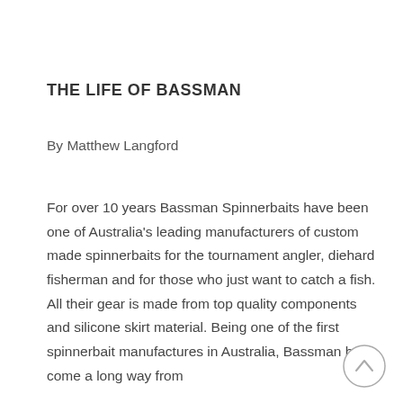THE LIFE OF BASSMAN
By Matthew Langford
For over 10 years Bassman Spinnerbaits have been one of Australia's leading manufacturers of custom made spinnerbaits for the tournament angler, diehard fisherman and for those who just want to catch a fish. All their gear is made from top quality components and silicone skirt material. Being one of the first spinnerbait manufactures in Australia, Bassman have come a long way from